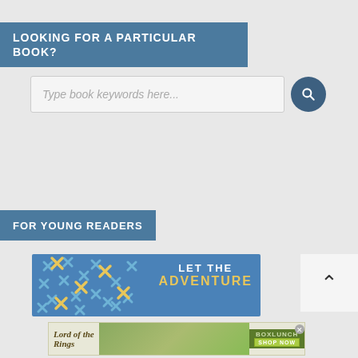LOOKING FOR A PARTICULAR BOOK?
[Figure (screenshot): Search input box with placeholder text 'Type book keywords here...' and a dark blue circular search button]
FOR YOUNG READERS
[Figure (illustration): Blue banner with X/star pattern decoration and text 'LET THE ADVENTURE' in white and yellow]
[Figure (infographic): White box with upward chevron arrow for scroll-to-top functionality]
[Figure (screenshot): Lord of the Rings BoxLunch advertisement banner with SHOP NOW button]